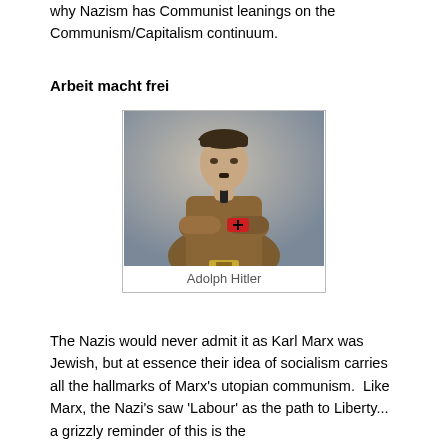why Nazism has Communist leanings on the Communism/Capitalism continuum.
Arbeit macht frei
[Figure (photo): Portrait photograph of Adolph Hitler in a brown uniform with a red armband, arms crossed.]
Adolph Hitler
The Nazis would never admit it as Karl Marx was Jewish, but at essence their idea of socialism carries all the hallmarks of Marx's utopian communism.  Like Marx, the Nazi's saw 'Labour' as the path to Liberty... a grizzly reminder of this is the